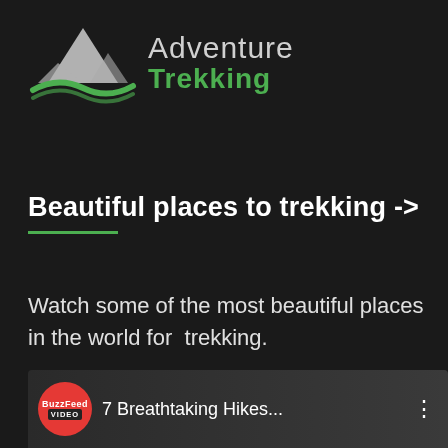[Figure (logo): Adventure Trekking logo with mountain and wave graphic, text reading 'Adventure Trekking']
Beautiful places to trekking ->
Watch some of the most beautiful places in the world for  trekking.
[Figure (screenshot): Video thumbnail showing BuzzFeed Video badge and title '7 Breathtaking Hikes...' with three-dot menu]